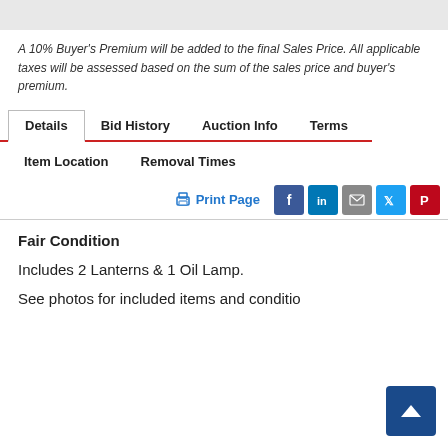A 10% Buyer's Premium will be added to the final Sales Price. All applicable taxes will be assessed based on the sum of the sales price and buyer's premium.
Details
Bid History
Auction Info
Terms
Item Location
Removal Times
Print Page
Fair Condition
Includes 2 Lanterns & 1 Oil Lamp.
See photos for included items and condition